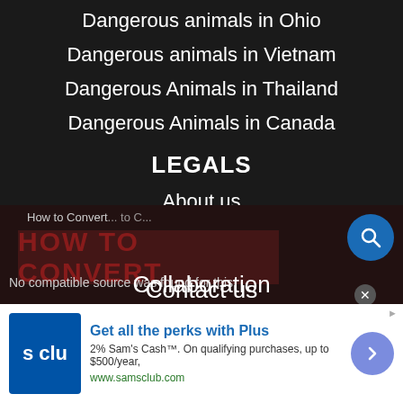Dangerous animals in Ohio
Dangerous animals in Vietnam
Dangerous Animals in Thailand
Dangerous Animals in Canada
LEGALS
About us
Sitemap
Privacy Policy
Terms of use
Contact us
How to Convert ... to C...
No compatible source was found for this
Collaboration
[Figure (screenshot): Advertisement banner for Sam's Club Plus membership showing logo, perks text, and Sam's Cash offer]
Get all the perks with Plus
2% Sam's Cash™. On qualifying purchases, up to $500/year,
www.samsclub.com